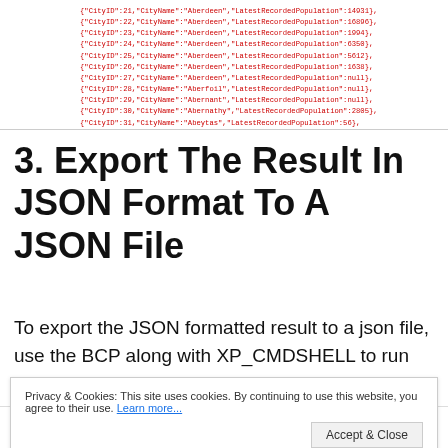[Figure (screenshot): Screenshot of JSON output lines showing CityID 21-31 with CityName Aberdeen/Aberfoil/Abernant/Abernathy/Abeytas and LatestRecordedPopulation values, rendered in red monospace text on white background with a left gray border]
3. Export The Result In JSON Format To A JSON File
To export the JSON formatted result to a json file, use the BCP along with XP_CMDSHELL to run the
Privacy & Cookies: This site uses cookies. By continuing to use this website, you agree to their use. Learn more...
Accept & Close
[Figure (screenshot): Bottom portion of a code editor showing lines 2 and 3: line 2 has DECLARE @sql varchar(1000), line 3 has SET @sql = 'bcp "SELECT CityID, Ci...']